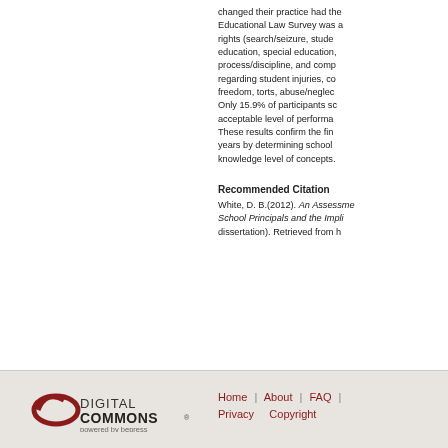changed their practice had the Educational Law Survey was a rights (search/seizure, student education, special education, process/discipline, and comp regarding student injuries, co freedom, torts, abuse/neglec Only 15.9% of participants s acceptable level of performa These results confirm the fin years by determining school knowledge level of concepts.
Recommended Citation
White, D. B.(2012). An Assessme School Principals and the Impli dissertation). Retrieved from h
Home | About | FAQ | Privacy  Copyright